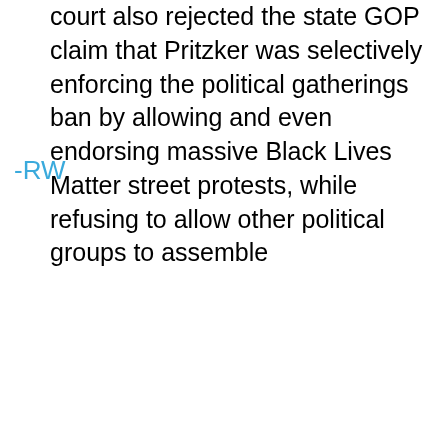court also rejected the state GOP claim that Pritzker was selectively enforcing the political gatherings ban by allowing and even endorsing massive Black Lives Matter street protests, while refusing to allow other political groups to assemble
-RW